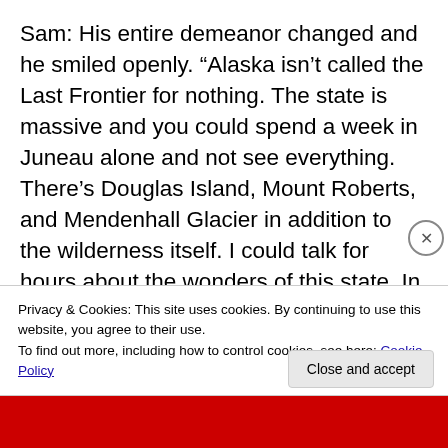Sam: His entire demeanor changed and he smiled openly. “Alaska isn’t called the Last Frontier for nothing. The state is massive and you could spend a week in Juneau alone and not see everything. There’s Douglas Island, Mount Roberts, and Mendenhall Glacier in addition to the wilderness itself. I could talk for hours about the wonders of this state. In fact, Emily even called the forest Mother Nature’s Library. I think she might be right.”
LT: Wow. First he didn’t want to talk at all, and now he can’t say enough. “It’s obvious you love the state and I’ll definitely check things out while I’m here. Thank you.”
Privacy & Cookies: This site uses cookies. By continuing to use this website, you agree to their use.
To find out more, including how to control cookies, see here: Cookie Policy